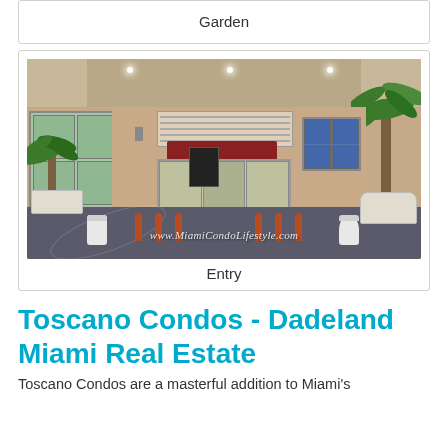Garden
[Figure (photo): Exterior entry of Toscano Condos building showing covered entrance with red awning, glass doors, palm trees, orange bollards, and stamped concrete driveway. Watermark: www.MiamiCondoLifestyle.com]
Entry
Toscano Condos - Dadeland Miami Real Estate
Toscano Condos are a masterful addition to Miami's